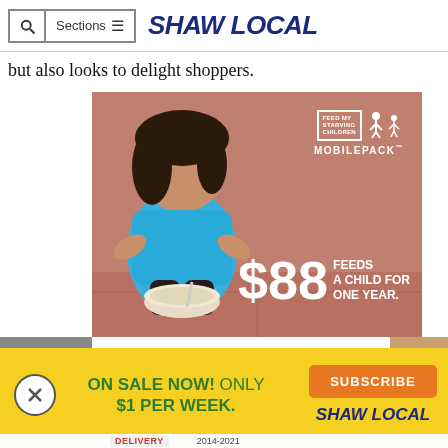Sections | SHAW LOCAL
but also looks to delight shoppers.
[Figure (photo): Feed My Starving Children MobilePack advertisement showing a young child holding a bowl of food. Text reads: $88 FEEDS A CHILD FOR ONE YEAR.]
[Figure (infographic): Subscription popup banner with yellow background. Text: ON SALE NOW! ONLY $1 PER WEEK. Subscribe button in orange. Shaw Local logo.]